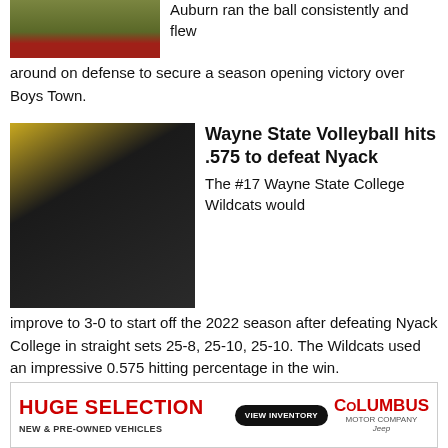[Figure (photo): Partial football field photo, top of page]
Auburn ran the ball consistently and flew around on defense to secure a season opening victory over Boys Town.
[Figure (photo): Wayne State volleyball players celebrating in black uniforms]
Wayne State Volleyball hits .575 to defeat Nyack
The #17 Wayne State College Wildcats would improve to 3-0 to start off the 2022 season after defeating Nyack College in straight sets 25-8, 25-10, 25-10. The Wildcats used an impressive 0.575 hitting percentage in the win.
[Figure (photo): Wildcats basketball/volleyball arena photo, partial]
17th-ranked Wildcats open season with a pair
[Figure (other): Columbus Motor Company advertisement banner — HUGE SELECTION, NEW & PRE-OWNED VEHICLES, VIEW INVENTORY button, Columbus Motor Company logo, Jeep]